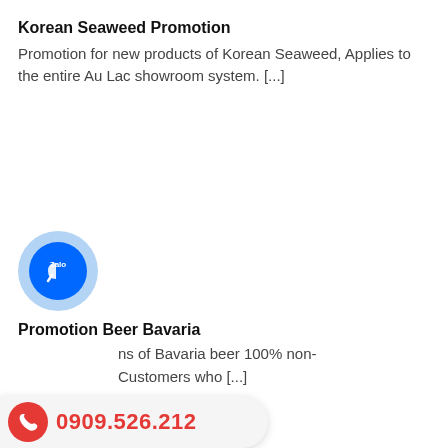Korean Seaweed Promotion
Promotion for new products of Korean Seaweed, Applies to the entire Au Lac showroom system. [...]
[Figure (logo): Zalo app logo icon - blue circle with light blue outer ring, white stylized bracket/phone icon with 'Zalo' text]
Promotion Beer Bavaria
...ns of Bavaria beer 100% non- Customers who [...]
0909.526.212